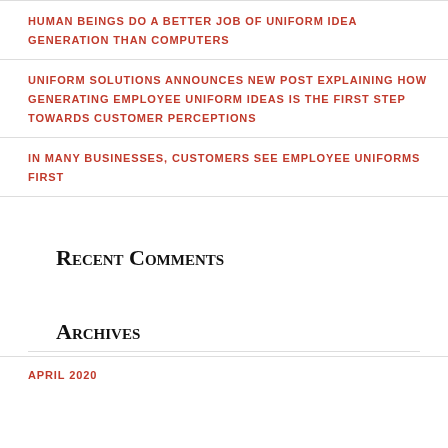HUMAN BEINGS DO A BETTER JOB OF UNIFORM IDEA GENERATION THAN COMPUTERS
UNIFORM SOLUTIONS ANNOUNCES NEW POST EXPLAINING HOW GENERATING EMPLOYEE UNIFORM IDEAS IS THE FIRST STEP TOWARDS CUSTOMER PERCEPTIONS
IN MANY BUSINESSES, CUSTOMERS SEE EMPLOYEE UNIFORMS FIRST
Recent Comments
Archives
APRIL 2020